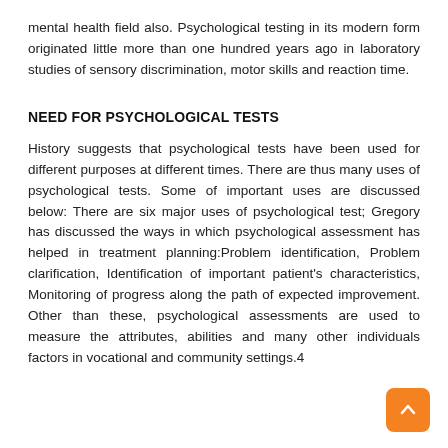mental health field also. Psychological testing in its modern form originated little more than one hundred years ago in laboratory studies of sensory discrimination, motor skills and reaction time.
NEED FOR PSYCHOLOGICAL TESTS
History suggests that psychological tests have been used for different purposes at different times. There are thus many uses of psychological tests. Some of important uses are discussed below: There are six major uses of psychological test; Gregory has discussed the ways in which psychological assessment has helped in treatment planning:Problem identification, Problem clarification, Identification of important patient's characteristics, Monitoring of progress along the path of expected improvement. Other than these, psychological assessments are used to measure the attributes, abilities and many other individuals factors in vocational and community settings.4